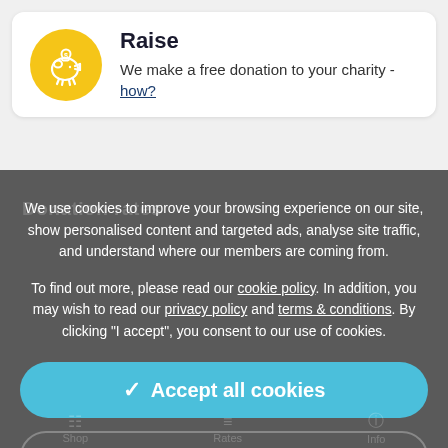Raise
We make a free donation to your charity - how?
We use cookies to improve your browsing experience on our site, show personalised content and targeted ads, analyse site traffic, and understand where our members are coming from.
To find out more, please read our cookie policy. In addition, you may wish to read our privacy policy and terms & conditions. By clicking "I accept", you consent to our use of cookies.
✓ Accept all cookies
⚙ Manage settings